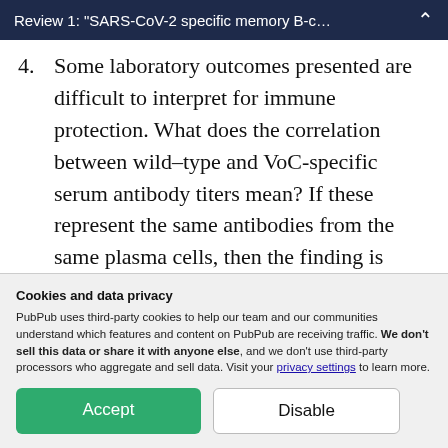Review 1: "SARS-CoV-2 specific memory B-c…
4. Some laboratory outcomes presented are difficult to interpret for immune protection. What does the correlation between wild-type and VoC-specific serum antibody titers mean? If these represent the same antibodies from the same plasma cells, then the finding is
Cookies and data privacy
PubPub uses third-party cookies to help our team and our communities understand which features and content on PubPub are receiving traffic. We don't sell this data or share it with anyone else, and we don't use third-party processors who aggregate and sell data. Visit your privacy settings to learn more.
Accept | Disable